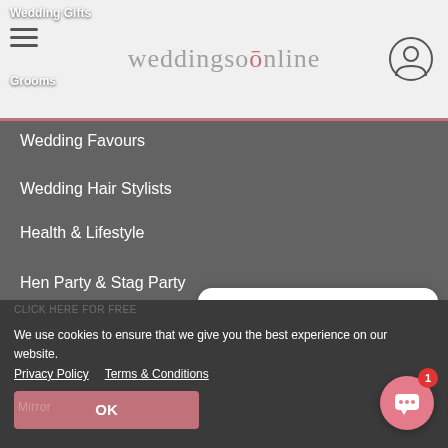weddingsonline
Wedding Favours
Wedding Hair Stylists
Health & Lifestyle
Hen Party & Stag Party
Honeymoons
Wedding Insurance
Wedding Invitations & Stationery
Wedding Jewellery
Wedding Makeup
[Figure (screenshot): Chat widget bubble showing 'Dearbhaile from weddings... Hi, I'm Dearbhaile, your totally free wedding...']
We use cookies to ensure that we give you the best experience on our website. Privacy Policy  Terms & Conditions
OK